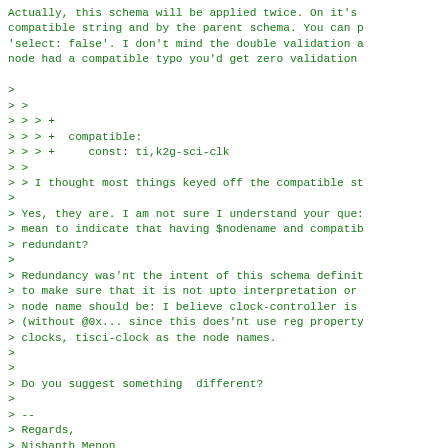Actually, this schema will be applied twice. On it's compatible string and by the parent schema. You can prevent 'select: false'. I don't mind the double validation and node had a compatible typo you'd get zero validation
>
> >
> > > +
> > > +  compatible:
> > > +     const: ti,k2g-sci-clk
> >
> > I thought most things keyed off the compatible st
>
> Yes, they are. I am not sure I understand your question. mean to indicate that having $nodename and compatible redundant?
>
> Redundancy was'nt the intent of this schema definition to make sure that it is not upto interpretation or node name should be: I believe clock-controller is (without @0x... since this does'nt use reg property clocks, tisci-clock as the node names.
>
>
> Do you suggest something  different?
>
> --
> Regards,
> Nishanth Menon
> Key (0xDDB5849D1736249D)/Fingerprint: F8A2 8693 54B